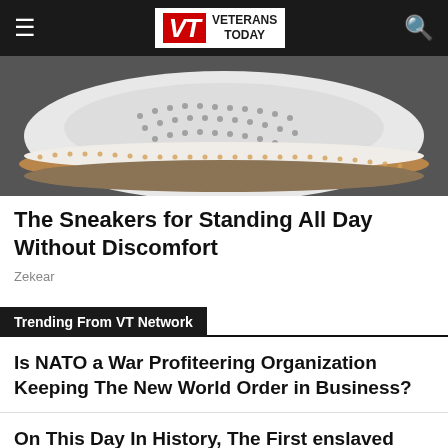VETERANS TODAY
[Figure (photo): Close-up photograph of a white perforated sneaker/shoe with a tan/brown sole, resting on a dark surface.]
The Sneakers for Standing All Day Without Discomfort
Zekear
Trending From VT Network
Is NATO a War Profiteering Organization Keeping The New World Order in Business?
On This Day In History, The First enslaved Africans arrived in Jamestown, setting the stage for slavery in North America